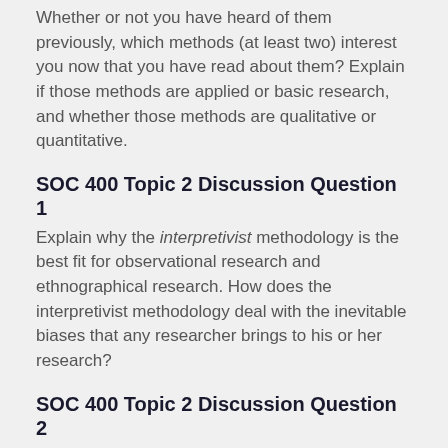Whether or not you have heard of them previously, which methods (at least two) interest you now that you have read about them? Explain if those methods are applied or basic research, and whether those methods are qualitative or quantitative.
SOC 400 Topic 2 Discussion Question 1
Explain why the interpretivist methodology is the best fit for observational research and ethnographical research. How does the interpretivist methodology deal with the inevitable biases that any researcher brings to his or her research?
SOC 400 Topic 2 Discussion Question 2
If you were to decide to conduct ethnographic research about Grand Canyon University, how would you go about doing this? Explain how your planned research fits the definition of ethnographic research.
SOC 400 Topic 3 Discussion Question 1
Select two of the five major modes of survey delivery